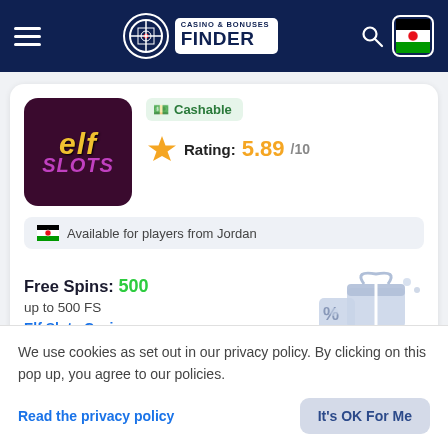Casino & Bonuses Finder
[Figure (screenshot): Elf Slots Casino card with cashable badge, rating 5.89/10, available for players from Jordan, Free Spins 500 bonus offer]
Cashable
Rating: 5.89/10
Available for players from Jordan
Free Spins: 500
up to 500 FS
Elf Slots Casino
We use cookies as set out in our privacy policy. By clicking on this pop up, you agree to our policies.
Read the privacy policy
It's OK For Me